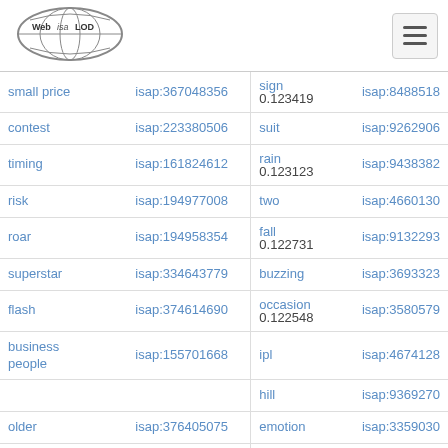[Figure (logo): Web isa LOD globe logo]
| term | isap id | related term | related isap |
| --- | --- | --- | --- |
| small price | isap:367048356 | sign
0.123419 | isap:8488518 |
| contest | isap:223380506 | suit | isap:9262906 |
| timing | isap:161824612 | rain
0.123123 | isap:9438382 |
| risk | isap:194977008 | two | isap:4660130 |
| roar | isap:194958354 | fall
0.122731 | isap:9132293 |
| superstar | isap:334643779 | buzzing | isap:3693323 |
| flash | isap:374614690 | occasion
0.122548 | isap:3580579 |
| business people | isap:155701668 | ipl | isap:4674128 |
|  |  | hill | isap:9369270 |
| older | isap:376405075 | emotion | isap:3359030 |
| discomfort | isap:260905851 | 0.122400
ratio | isap:3761767 |